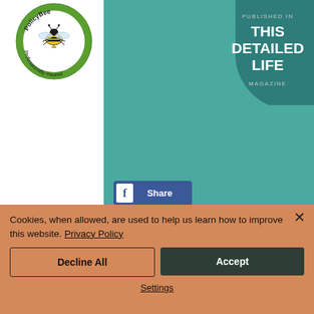[Figure (logo): PolicyBee 'Professionally Insured' circular green badge logo with bee illustration]
[Figure (logo): Teal circular badge reading 'PUBLISHED IN THIS DETAILED LIFE MAGAZINE']
[Figure (screenshot): Facebook Share button with blue background]
Cookies, when allowed, are used to help us learn how to improve this website. Privacy Policy
Decline All
Accept
Settings